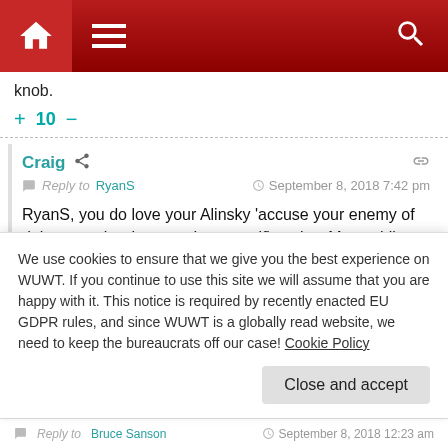WUWT website header with home, menu, and search icons
knob.
+ 10 −
Craig — Reply to RyanS — September 8, 2018 7:42 pm
RyanS, you do love your Alinsky ‘accuse your enemy of doing exactly what you do yourself’ tactics. Meanwhile back in the real world of mainstream climate “science,” desperately trying
We use cookies to ensure that we give you the best experience on WUWT. If you continue to use this site we will assume that you are happy with it. This notice is required by recently enacted EU GDPR rules, and since WUWT is a globally read website, we need to keep the bureaucrats off our case! Cookie Policy
Close and accept
Reply to Bruce Sanson — September 8, 2018 12:23 am